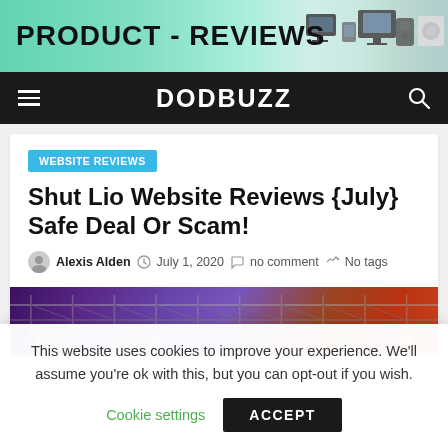[Figure (banner): Product Reviews banner with green gradient background and electronics images on the right]
DODBUZZ
WEBSITE REVIEWS
Shut Lio Website Reviews {July} Safe Deal Or Scam!
Alexis Alden  July 1, 2020  no comment  No tags
[Figure (photo): Purple and orange lit truss/stage structure photo]
This website uses cookies to improve your experience. We'll assume you're ok with this, but you can opt-out if you wish.
Cookie settings  ACCEPT